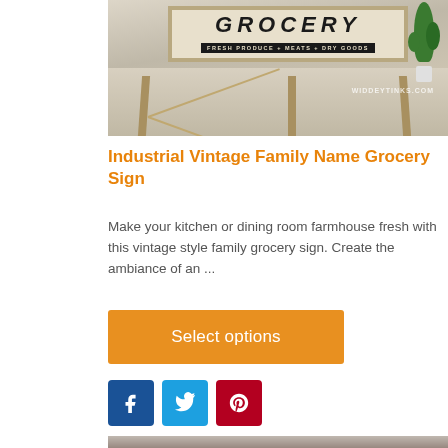[Figure (photo): Photo of a rustic wooden farmhouse console table with a vintage grocery sign above it reading 'GROCERY - FRESH PRODUCE + MEATS + DRY GOODS'. A green plant is visible in the background. Watermark reads WIDDEYTINKS.COM]
Industrial Vintage Family Name Grocery Sign
Make your kitchen or dining room farmhouse fresh with this vintage style family grocery sign. Create the ambiance of an ...
Select options
[Figure (other): Social media share buttons: Facebook (blue), Twitter (light blue), Pinterest (dark red)]
[Figure (photo): Partial bottom image of another product, cropped]